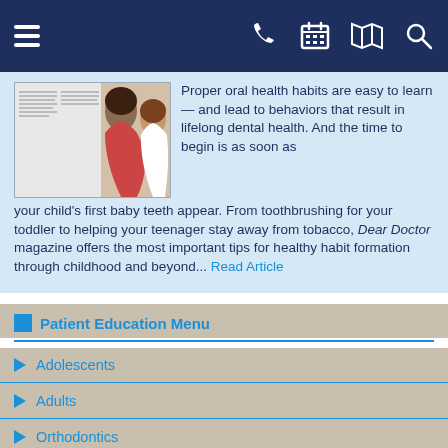[Figure (screenshot): Navy top navigation bar with hamburger menu icon on left and phone, calendar, map, and search icons on right in white on dark navy background]
[Figure (photo): Thumbnail image of a magazine page showing a mother and young child smiling at each other, used as article illustration]
Proper oral health habits are easy to learn — and lead to behaviors that result in lifelong dental health. And the time to begin is as soon as your child's first baby teeth appear. From toothbrushing for your toddler to helping your teenager stay away from tobacco, Dear Doctor magazine offers the most important tips for healthy habit formation through childhood and beyond... Read Article
Patient Education Menu
Adolescents
Adults
Orthodontics